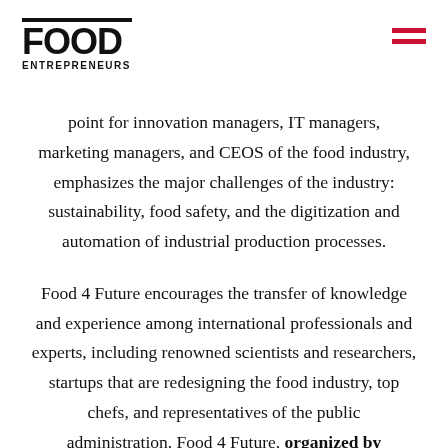FOOD ENTREPRENEURS
point for innovation managers, IT managers, marketing managers, and CEOS of the food industry, emphasizes the major challenges of the industry: sustainability, food safety, and the digitization and automation of industrial production processes.
Food 4 Future encourages the transfer of knowledge and experience among international professionals and experts, including renowned scientists and researchers, startups that are redesigning the food industry, top chefs, and representatives of the public administration. Food 4 Future, organized by NEBEXT and AZTI, has the support of the Basque Government,